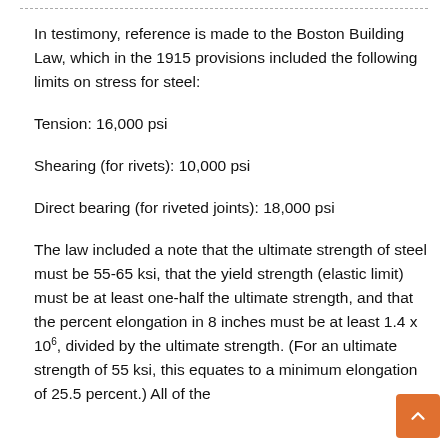In testimony, reference is made to the Boston Building Law, which in the 1915 provisions included the following limits on stress for steel:
Tension: 16,000 psi
Shearing (for rivets): 10,000 psi
Direct bearing (for riveted joints): 18,000 psi
The law included a note that the ultimate strength of steel must be 55-65 ksi, that the yield strength (elastic limit) must be at least one-half the ultimate strength, and that the percent elongation in 8 inches must be at least 1.4 x 10⁶, divided by the ultimate strength. (For an ultimate strength of 55 ksi, this equates to a minimum elongation of 25.5 percent.) All of the